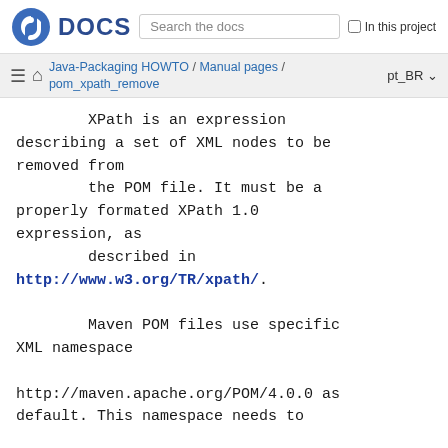DOCS  Search the docs  In this project
Java-Packaging HOWTO / Manual pages / pom_xpath_remove  pt_BR
XPath is an expression describing a set of XML nodes to be removed from
        the POM file. It must be a properly formated XPath 1.0 expression, as
        described in
http://www.w3.org/TR/xpath/.

        Maven POM files use specific XML namespace

http://maven.apache.org/POM/4.0.0 as default. This namespace needs to